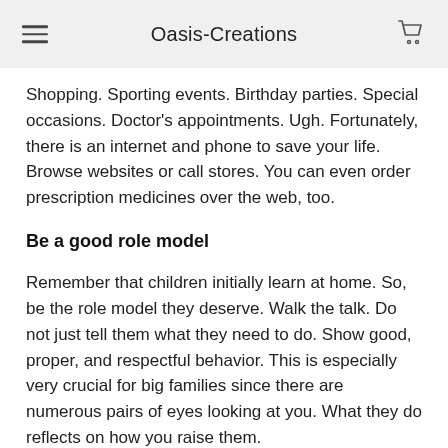Oasis-Creations
Shopping. Sporting events. Birthday parties. Special occasions. Doctor's appointments. Ugh. Fortunately, there is an internet and phone to save your life. Browse websites or call stores. You can even order prescription medicines over the web, too.
Be a good role model
Remember that children initially learn at home. So, be the role model they deserve. Walk the talk. Do not just tell them what they need to do. Show good, proper, and respectful behavior. This is especially very crucial for big families since there are numerous pairs of eyes looking at you. What they do reflects on how you raise them.
Do. Not. Spank.
Contrary to what some parents believe, spanking would not teach children right from wrong. Rather, you are teaching